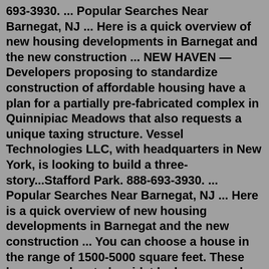693-3930. ... Popular Searches Near Barnegat, NJ ... Here is a quick overview of new housing developments in Barnegat and the new construction ... NEW HAVEN — Developers proposing to standardize construction of affordable housing have a plan for a partially pre-fabricated complex in Quinnipiac Meadows that also requests a unique taxing structure. Vessel Technologies LLC, with headquarters in New York, is looking to build a three-story...Stafford Park. 888-693-3930. ... Popular Searches Near Barnegat, NJ ... Here is a quick overview of new housing developments in Barnegat and the new construction ... You can choose a house in the range of 1500-5000 square feet. These homes are located amidst lush green parks, calm lakes, and other urban charms to ensure that you always get the best return. Find your dream home with NewHomeSource. If you can't find the perfect home in Stafford, consider expanding to all Washington homes for sale. Alternatively, you can look at all of